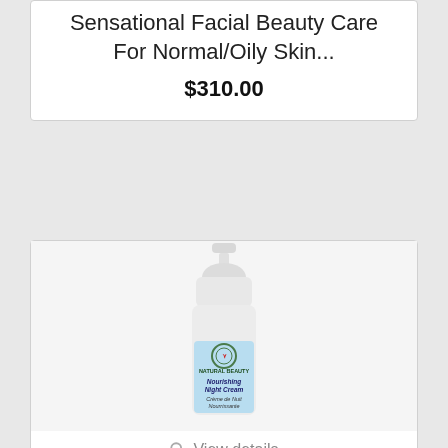Sensational Facial Beauty Care For Normal/Oily Skin...
$310.00
[Figure (photo): A white vacuum pump bottle with a light blue label reading 'Natural Beauty Nourishing Night Cream / Crème de Nuit Nourrissante']
View details
NOURISHING NIGHT CREAM IN VACUUM PUMP
$54.00